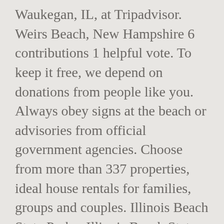Waukegan, IL, at Tripadvisor. Weirs Beach, New Hampshire 6 contributions 1 helpful vote. To keep it free, we depend on donations from people like you. Always obey signs at the beach or advisories from official government agencies. Choose from more than 337 properties, ideal house rentals for families, groups and couples. Illinois Beach State Park – Illinois Beach State Park is now open daily 8:00 a.m – sundown. Grey means there is no current water quality information, the beach is under construction, there has been an event that has rendered water quality information unreliable or unavailable. New Hampshire Department of Environmental